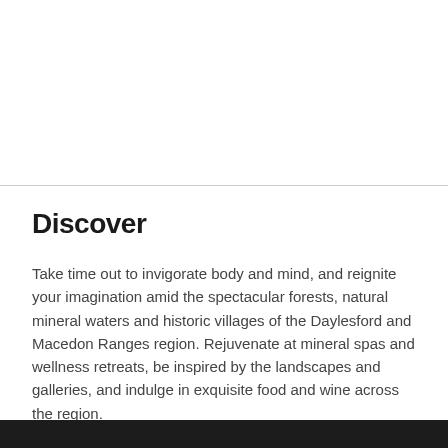Discover
Take time out to invigorate body and mind, and reignite your imagination amid the spectacular forests, natural mineral waters and historic villages of the Daylesford and Macedon Ranges region. Rejuvenate at mineral spas and wellness retreats, be inspired by the landscapes and galleries, and indulge in exquisite food and wine across the region.